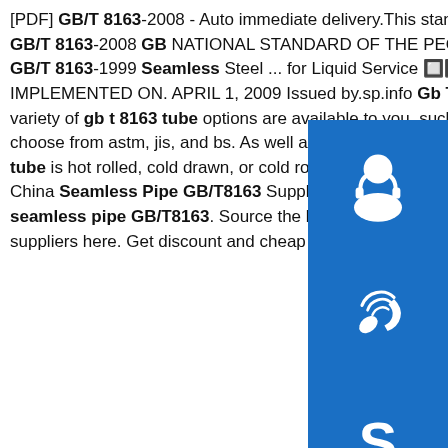[PDF] GB/T 8163-2008 - Auto immediate delivery. This standard applies to the transport of fluids generally seamless. GB/T 8163-2008 GB NATIONAL STANDARD OF THE PEOPLE'S REPUBLIC OF CHINA ICS 77... H 48 Replacing GB/T 8163-1999 Seamless Steel ... for Liquid Service 🔲🔲🔲🔲🔲🔲🔲🔲 ISSUED ON. AUGUST 18, 2008 IMPLEMENTED ON. APRIL 1, 2009 Issued by.sp.info Gb T 8163 Tube, Gb T 8163 Tube Suppliers and ...A wide variety of gb t 8163 tube options are available to you, such as 10#, a53(a,b), and 10cr9mo1vnb. You can also choose from astm, jis, and bs. As well as from fluid pipe, structure pipe, and hydraulic pipe. And whether gb t 8163 tube is hot rolled, cold drawn, or cold rolled. There are 557 gb t 8163 tube suppliers, mainly located in Asia.sp.info China Seamless Pipe GB/T8163 Suppliers and Factory ...CANGZHOU GALAXY offers customized service for bulk seamless pipe GB/T8163. Source the best Seamless Line Pipe from China's professional manufacturers and suppliers here. Get discount and cheap products from our